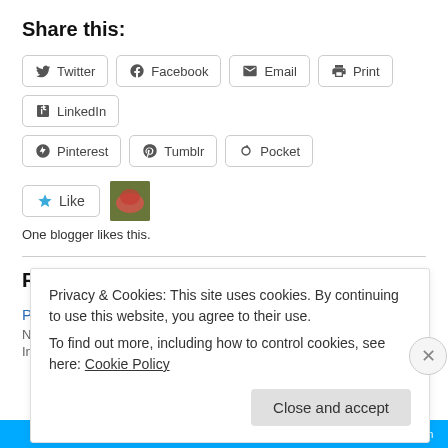Share this:
Twitter
Facebook
Email
Print
LinkedIn
Pinterest
Tumblr
Pocket
One blogger likes this.
Related
Politics and Believers
November 9, 2018
In "activism"
Privacy & Cookies: This site uses cookies. By continuing to use this website, you agree to their use.
To find out more, including how to control cookies, see here: Cookie Policy
Close and accept